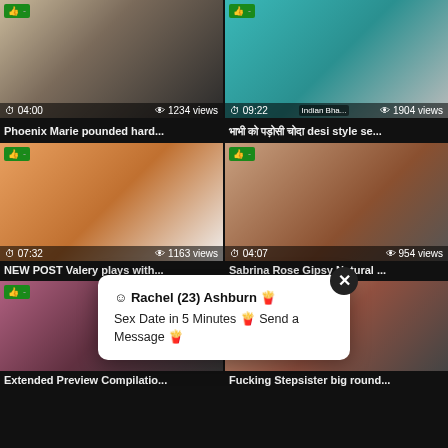[Figure (screenshot): Video thumbnail grid with 6 video thumbnails showing adult content titles, view counts, and durations. Overlay popup ad for 'Rachel (23) Ashburn'.]
Phoenix Marie pounded hard...
भाभी को पड़ोसी चोदा desi style se...
NEW POST Valery plays with...
Sabrina Rose Gipsy Natural ...
Extended Preview Compilatio...
Fucking Stepsister big round...
☺ Rachel (23) Ashburn 🍟
Sex Date in 5 Minutes 🍟 Send a Message 🍟